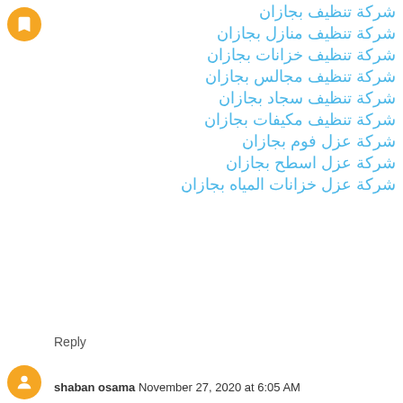[Figure (logo): Orange circular avatar icon with a bookmark/tag symbol]
شركة تنظيف بجازان
شركة تنظيف منازل بجازان
شركة تنظيف خزانات بجازان
شركة تنظيف مجالس بجازان
شركة تنظيف سجاد بجازان
شركة تنظيف مكيفات بجازان
شركة عزل فوم بجازان
شركة عزل اسطح بجازان
شركة عزل خزانات المياه بجازان
Reply
[Figure (photo): Orange circular avatar at bottom]
shaban osama  November 27, 2020 at 6:05 AM